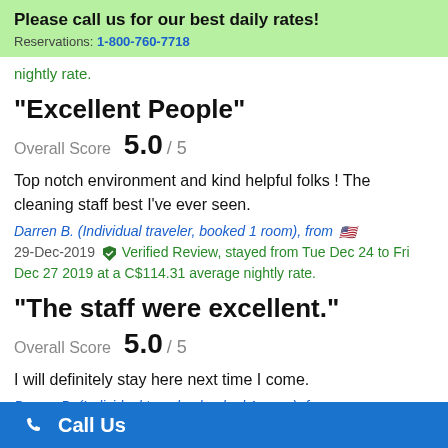Please call us for our best daily rates! Reservations: 1-800-760-7718
nightly rate.
"Excellent People"
Overall Score 5.0 / 5
Top notch environment and kind helpful folks ! The cleaning staff best I've ever seen.
Darren B. (Individual traveler, booked 1 room), from 🇺🇸
29-Dec-2019 Verified Review, stayed from Tue Dec 24 to Fri Dec 27 2019 at a C$114.31 average nightly rate.
"The staff were excellent."
Overall Score 5.0 / 5
I will definitely stay here next time I come.
Darren B. (Individual traveler, booked 1 room), from 🇺🇸
Call Us